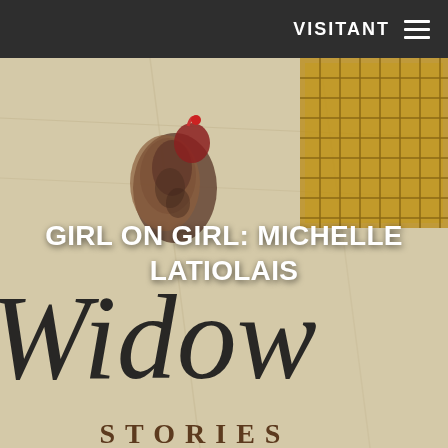VISITANT ≡
[Figure (photo): Book cover closeup showing 'Widow Stories' with decorative bird illustration on aged parchment background. Large italic text reads 'Widow' with 'STORIES' below in spaced capital letters.]
GIRL ON GIRL: MICHELLE LATIOLAIS